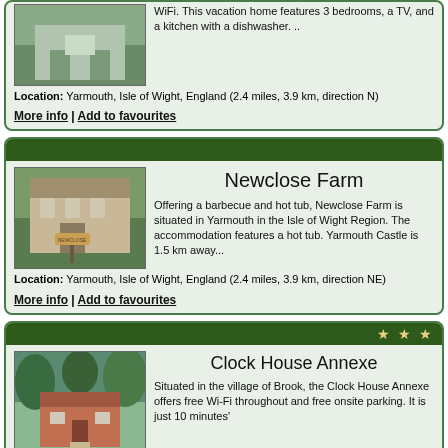WiFi. This vacation home features 3 bedrooms, a TV, and a kitchen with a dishwasher. ..
Location: Yarmouth, Isle of Wight, England (2.4 miles, 3.9 km, direction N)
More info | Add to favourites
Newclose Farm
[Figure (photo): Exterior photo of Newclose Farm showing a stone farmhouse building with dormer windows]
Offering a barbecue and hot tub, Newclose Farm is situated in Yarmouth in the Isle of Wight Region. The accommodation features a hot tub. Yarmouth Castle is 1.5 km away...
Location: Yarmouth, Isle of Wight, England (2.4 miles, 3.9 km, direction NE)
More info | Add to favourites
Clock House Annexe
[Figure (photo): Exterior photo of Clock House Annexe showing a red brick house surrounded by trees]
Situated in the village of Brook, the Clock House Annexe offers free Wi-Fi throughout and free onsite parking. It is just 10 minutes'